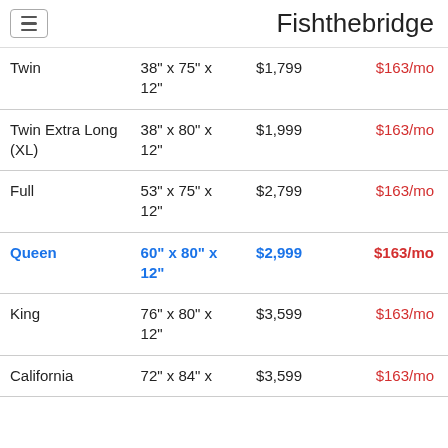Fishthebridge
| Size | Dimensions | Price | Monthly |
| --- | --- | --- | --- |
| Twin | 38" x 75" x 12" | $1,799 | $163/mo |
| Twin Extra Long (XL) | 38" x 80" x 12" | $1,999 | $163/mo |
| Full | 53" x 75" x 12" | $2,799 | $163/mo |
| Queen | 60" x 80" x 12" | $2,999 | $163/mo |
| King | 76" x 80" x 12" | $3,599 | $163/mo |
| California King | 72" x 84" x 12" | $3,599 | $163/mo |